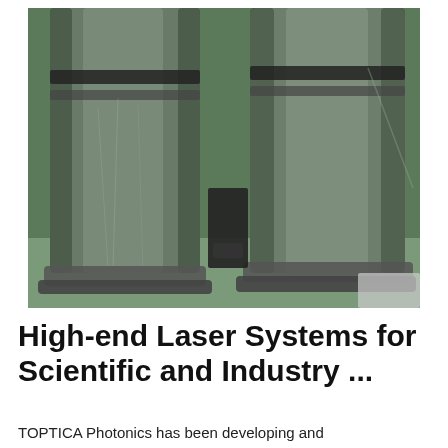[Figure (photo): Two large cylindrical metallic laser or optical components wrapped partially in protective plastic film, standing upright on a mounting base in a green-walled laboratory or manufacturing environment.]
High-end Laser Systems for Scientific and Industry ...
TOPTICA Photonics has been developing and